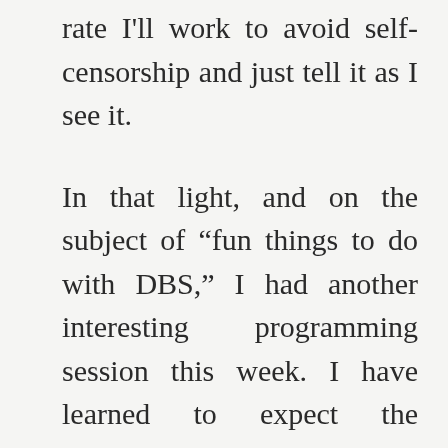rate I'll work to avoid self-censorship and just tell it as I see it.
In that light, and on the subject of “fun things to do with DBS,” I had another interesting programming session this week. I have learned to expect the unexpected, but I missed the mark on this one by a wide